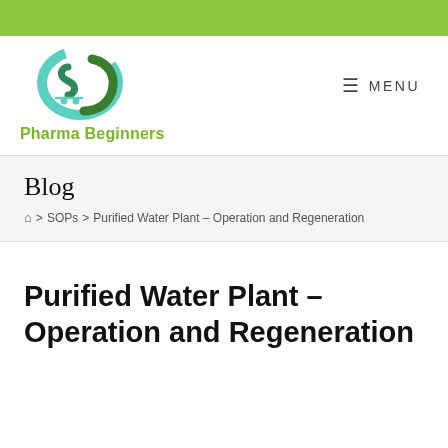[Figure (logo): Pharma Beginners logo with stylized green cart icon and text]
Blog
⌂ > SOPs > Purified Water Plant – Operation and Regeneration
Purified Water Plant – Operation and Regeneration